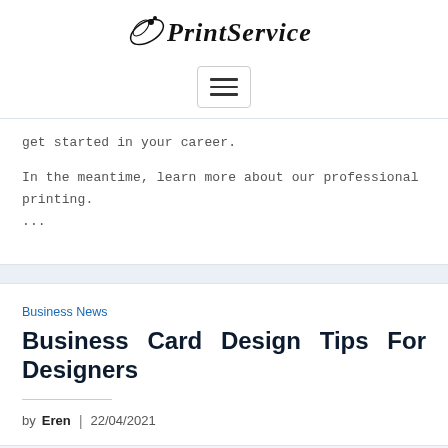[Figure (logo): PrintService cursive/script logo with decorative leaf element]
[Figure (other): Hamburger menu navigation button with three horizontal lines]
get started in your career.

In the meantime, learn more about our professional printing. ...
Business News
Business Card Design Tips For Designers
by Eren | 22/04/2021